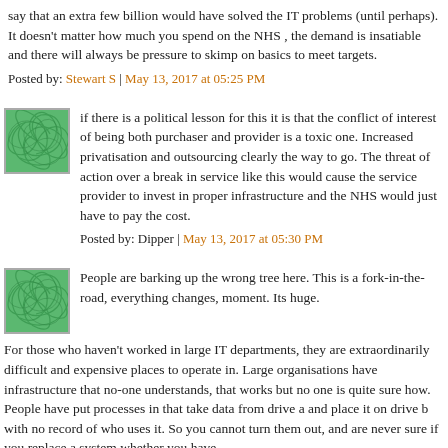say that an extra few billion would have solved the IT problems (until perhaps). It doesn't matter how much you spend on the NHS , the demand is insatiable and there will always be pressure to skimp on basics to meet targets.
Posted by: Stewart S | May 13, 2017 at 05:25 PM
[Figure (illustration): Green swirl avatar icon for commenter Dipper]
if there is a political lesson for this it is that the conflict of interest of being both purchaser and provider is a toxic one. Increased privatisation and outsourcing clearly the way to go. The threat of action over a break in service like this would cause the service provider to invest in proper infrastructure and the NHS would just have to pay the cost.
Posted by: Dipper | May 13, 2017 at 05:30 PM
[Figure (illustration): Green swirl avatar icon for third commenter]
People are barking up the wrong tree here. This is a fork-in-the-road, everything changes, moment. Its huge.
For those who haven't worked in large IT departments, they are extraordinarily difficult and expensive places to operate in. Large organisations have infrastructure that no-one understands, that works but no one is quite sure how. People have put processes in that take data from drive a and place it on drive b with no record of who uses it. So you cannot turn them out, and are never sure if you replace a system whether you have